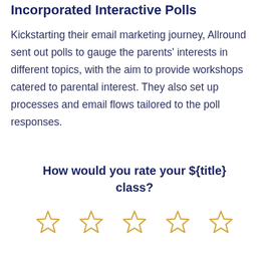Incorporated Interactive Polls
Kickstarting their email marketing journey, Allround sent out polls to gauge the parents' interests in different topics, with the aim to provide workshops catered to parental interest. They also set up processes and email flows tailored to the poll responses.
How would you rate your ${title} class?
[Figure (illustration): Five empty gold star icons arranged in a horizontal row, representing a 5-star rating scale]